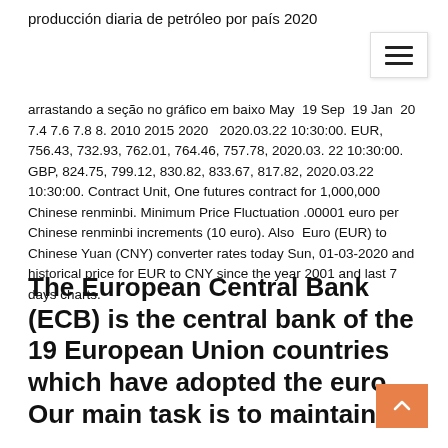producción diaria de petróleo por país 2020
arrastando a seção no gráfico em baixo May  19 Sep  19 Jan  20 7.4 7.6 7.8 8. 2010 2015 2020   2020.03.22 10:30:00. EUR, 756.43, 732.93, 762.01, 764.46, 757.78, 2020.03. 22 10:30:00. GBP, 824.75, 799.12, 830.82, 833.67, 817.82, 2020.03.22 10:30:00. Contract Unit, One futures contract for 1,000,000 Chinese renminbi. Minimum Price Fluctuation .00001 euro per Chinese renminbi increments (10 euro). Also  Euro (EUR) to Chinese Yuan (CNY) converter rates today Sun, 01-03-2020 and historical price for EUR to CNY since the year 2001 and last 7 days charts.
The European Central Bank (ECB) is the central bank of the 19 European Union countries which have adopted the euro. Our main task is to maintain